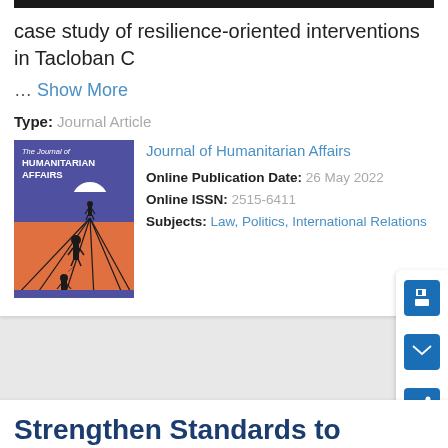case study of resilience-oriented interventions in Tacloban C
… Show More
Type: Journal Article
[Figure (illustration): Cover of The Journal of Humanitarian Affairs showing silhouettes of figures on an orange and purple background with converging lines]
Journal of Humanitarian Affairs
Online Publication Date: 26 May 2022
Online ISSN: 2515-6411
Subjects: Law, Politics, International Relations
Strengthen Standards to Improve Early